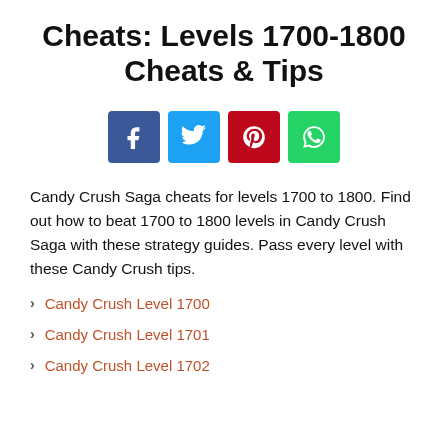Cheats: Levels 1700-1800 Cheats & Tips
[Figure (other): Social sharing icons: Facebook (blue), Twitter (light blue), Pinterest (red), WhatsApp (green)]
Candy Crush Saga cheats for levels 1700 to 1800. Find out how to beat 1700 to 1800 levels in Candy Crush Saga with these strategy guides. Pass every level with these Candy Crush tips.
Candy Crush Level 1700
Candy Crush Level 1701
Candy Crush Level 1702